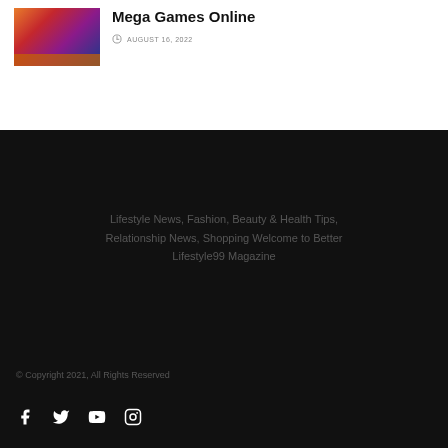[Figure (photo): Thumbnail image of a colorful casino/slot game screenshot]
Mega Games Online
AUGUST 16, 2022
Lifestyle News, Fashion, Beauty & Health Tips, Relationship News, Shopping Welcome to Better Lifestyle99 Magazine
© Copyright 2021, All Rights Reserved
[Figure (other): Social media icons: Facebook, Twitter, YouTube, Instagram]